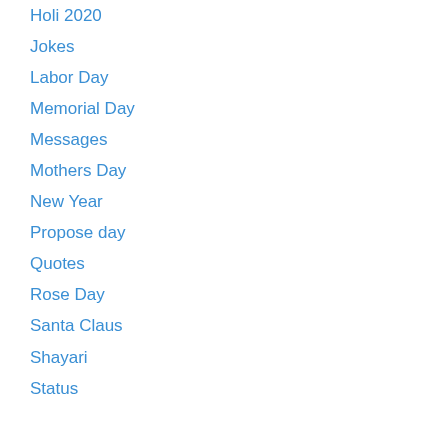Holi 2020
Jokes
Labor Day
Memorial Day
Messages
Mothers Day
New Year
Propose day
Quotes
Rose Day
Santa Claus
Shayari
Status